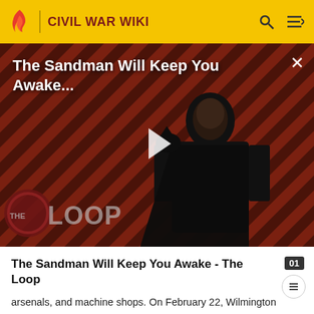CIVIL WAR WIKI
[Figure (screenshot): Video thumbnail showing a figure in black costume against a diagonal striped red/dark background with 'THE LOOP' text overlay and a play button in the center]
The Sandman Will Keep You Awake - The Loop
arsenals, and machine shops. On February 22, Wilmington surrendered.
Battle of Wyse Fork (March 7 – March 10)